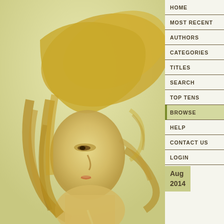[Figure (illustration): Digital illustration of a woman with long flowing golden blonde hair, facing left in profile, with warm golden-yellow tones throughout. Art nouveau or fantasy style painting with soft skin tones and windswept hair.]
HOME
MOST RECENT
AUTHORS
CATEGORIES
TITLES
SEARCH
TOP TENS
BROWSE
HELP
CONTACT US
LOGIN
Aug 2014